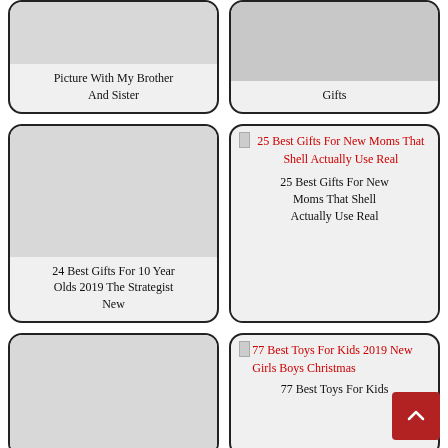[Figure (screenshot): Top-left card: partial image area (grey) with text 'Picture With My Brother And Sister']
[Figure (screenshot): Top-right card: partial photo image area with text 'Gifts']
[Figure (screenshot): Middle-left card: large grey image area with text '24 Best Gifts For 10 Year Olds 2019 The Strategist New']
[Figure (screenshot): Middle-right card: red link text '25 Best Gifts For New Moms That Shell Actually Use Real' and black text '25 Best Gifts For New Moms That Shell Actually Use Real']
[Figure (screenshot): Bottom-left card: large grey image area, no visible text]
[Figure (screenshot): Bottom-right card: red link text '77 Best Toys For Kids 2019 New Girls Boys Christmas' and black text '77 Best Toys For Kids']